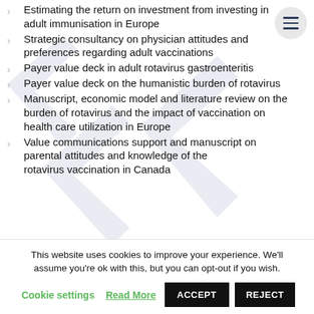Estimating the return on investment from investing in adult immunisation in Europe
Strategic consultancy on physician attitudes and preferences regarding adult vaccinations
Payer value deck in adult rotavirus gastroenteritis
Payer value deck on the humanistic burden of rotavirus
Manuscript, economic model and literature review on the burden of rotavirus and the impact of vaccination on health care utilization in Europe
Value communications support and manuscript on parental attitudes and knowledge of the rotavirus vaccination in Canada
This website uses cookies to improve your experience. We'll assume you're ok with this, but you can opt-out if you wish.
Cookie settings  Read More  ACCEPT  REJECT